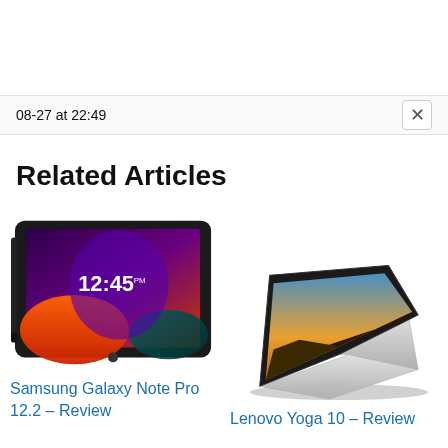08-27 at 22:49
Related Articles
[Figure (photo): Samsung Galaxy Note Pro 12.2 tablet with stylus, showing colorful lock screen with time 12:45 PM]
Samsung Galaxy Note Pro 12.2 – Review
[Figure (photo): Lenovo Yoga 10 tablet in kickstand mode, showing landscape wallpaper on screen]
Lenovo Yoga 10 – Review